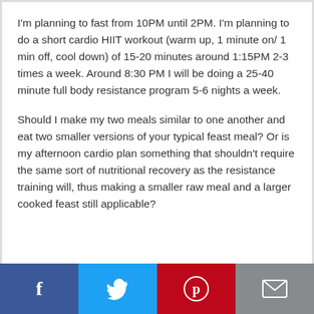I'm planning to fast from 10PM until 2PM. I'm planning to do a short cardio HIIT workout (warm up, 1 minute on/ 1 min off, cool down) of 15-20 minutes around 1:15PM 2-3 times a week. Around 8:30 PM I will be doing a 25-40 minute full body resistance program 5-6 nights a week.
Should I make my two meals similar to one another and eat two smaller versions of your typical feast meal? Or is my afternoon cardio plan something that shouldn't require the same sort of nutritional recovery as the resistance training will, thus making a smaller raw meal and a larger cooked feast still applicable?
[Figure (infographic): Social sharing bar with four buttons: Facebook (blue), Twitter (light blue), Pinterest (red), Email (grey)]